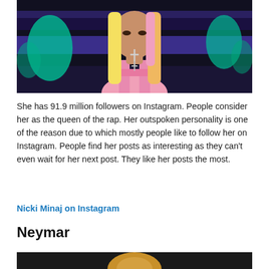[Figure (photo): Photo of a woman with long blonde and pink hair wearing a pink outfit and silver jewelry, against a purple/blue background with teal decorative shapes]
She has 91.9 million followers on Instagram. People consider her as the queen of the rap. Her outspoken personality is one of the reason due to which mostly people like to follow her on Instagram. People find her posts as interesting as they can't even wait for her next post. They like her posts the most.
Nicki Minaj on Instagram
Neymar
[Figure (photo): Partial photo of Neymar at the bottom of the page, dark background with golden/blonde hair visible]